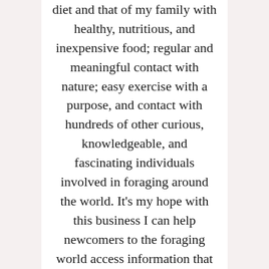diet and that of my family with healthy, nutritious, and inexpensive food; regular and meaningful contact with nature; easy exercise with a purpose, and contact with hundreds of other curious, knowledgeable, and fascinating individuals involved in foraging around the world. It's my hope with this business I can help newcomers to the foraging world access information that